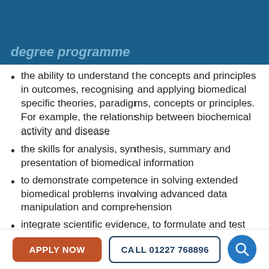degree programme
the ability to understand the concepts and principles in outcomes, recognising and applying biomedical specific theories, paradigms, concepts or principles. For example, the relationship between biochemical activity and disease
the skills for analysis, synthesis, summary and presentation of biomedical information
to demonstrate competence in solving extended biomedical problems involving advanced data manipulation and comprehension
integrate scientific evidence, to formulate and test hypotheses
APPLY NOW | CALL 01227 768896